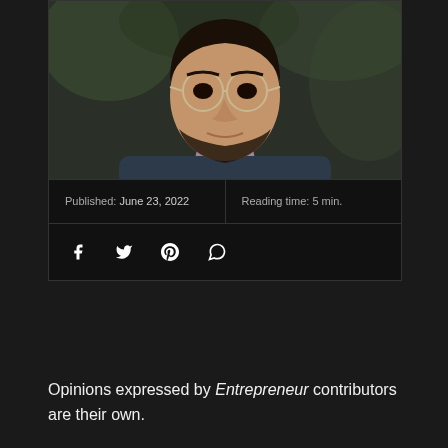[Figure (photo): Portrait photo of a man with glasses, dark hair and beard, wearing a dark navy zip-up sweater over a light pink collared shirt, photographed outdoors with blurred green background]
Published: June 23, 2022
Reading time: 5 min.
[Figure (other): Social media share icons: Facebook, Twitter, Pinterest, WhatsApp]
Opinions expressed by Entrepreneur contributors are their own.